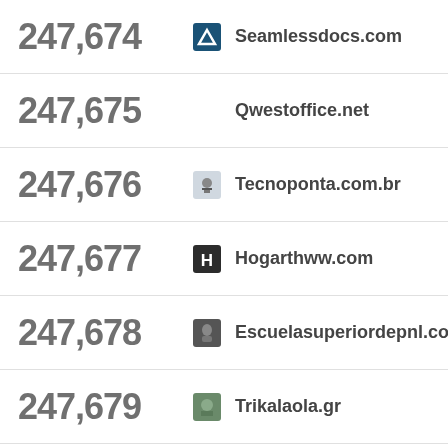247,674 Seamlessdocs.com
247,675 Qwestoffice.net
247,676 Tecnoponta.com.br
247,677 Hogarthww.com
247,678 Escuelasuperiordepnl.com
247,679 Trikalaola.gr